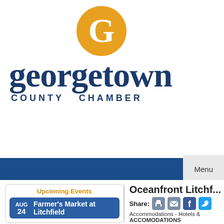[Figure (logo): Georgetown County Chamber logo: gold circle with G, and text 'georgetown COUNTY CHAMBER' in dark navy blue]
Menu
Upcoming Events
Aug 24 Farmer's Market at Litchfield
Oceanfront Litchf...
Share:
Accommodations - Hotels & ACCOMODATIONS